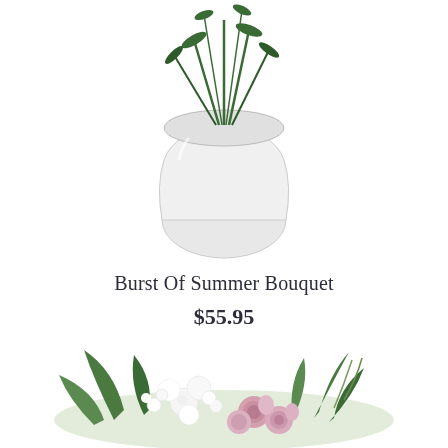[Figure (photo): A glass vase with green stems and foliage inside, photographed from above on a white background, showing the top portion of the arrangement.]
Burst Of Summer Bouquet
$55.95
[Figure (photo): A floral bouquet arrangement with white flowers, pink roses, and green foliage, partially visible, photographed on a white background — the bottom portion of the arrangement.]